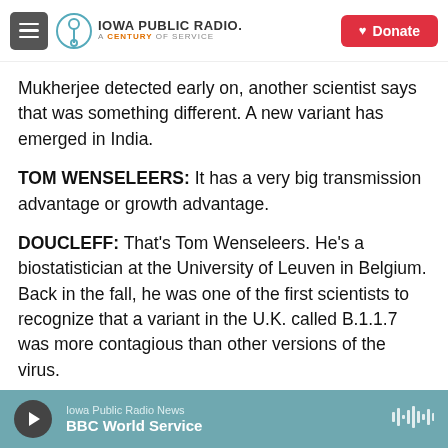Iowa Public Radio — A Century of Service | Donate
Mukherjee detected early on, another scientist says that was something different. A new variant has emerged in India.
TOM WENSELEERS: It has a very big transmission advantage or growth advantage.
DOUCLEFF: That's Tom Wenseleers. He's a biostatistician at the University of Leuven in Belgium. Back in the fall, he was one of the first scientists to recognize that a variant in the U.K. called B.1.1.7 was more contagious than other versions of the virus.
Iowa Public Radio News | BBC World Service